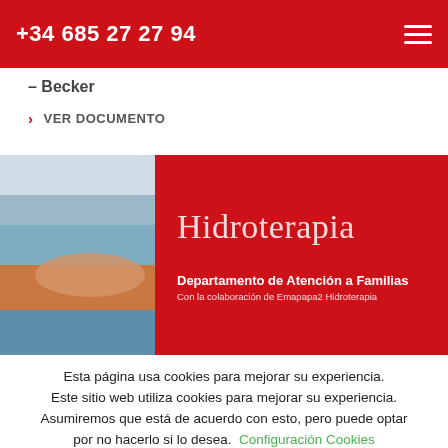+34 685 27 27 94
– Becker
VER DOCUMENTO
[Figure (photo): Hidroterapia brochure cover showing a swimmer in a pool on the left and red overlay on the right with title 'Hidroterapia', 'Departamento de Atención a Familias', 'Con la colaboración de Emapapa2 Hidroterapia']
Esta página usa cookies para mejorar su experiencia. Este sitio web utiliza cookies para mejorar su experiencia. Asumiremos que está de acuerdo con esto, pero puede optar por no hacerlo si lo desea. Configuración Cookies
ACEPTAR